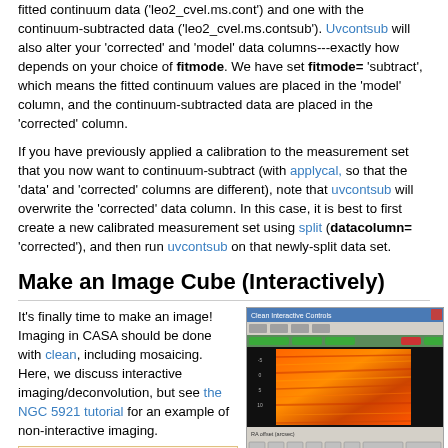fitted continuum data ('leo2_cvel.ms.cont') and one with the continuum-subtracted data ('leo2_cvel.ms.contsub'). Uvcontsub will also alter your 'corrected' and 'model' data columns---exactly how depends on your choice of fitmode. We have set fitmode= 'subtract', which means the fitted continuum values are placed in the 'model' column, and the continuum-subtracted data are placed in the 'corrected' column.
If you have previously applied a calibration to the measurement set that you now want to continuum-subtract (with applycal, so that the 'data' and 'corrected' columns are different), note that uvcontsub will overwrite the 'corrected' data column. In this case, it is best to first create a new calibrated measurement set using split (datacolumn= 'corrected'), and then run uvcontsub on that newly-split data set.
Make an Image Cube (Interactively)
It's finally time to make an image! Imaging in CASA should be done with clean, including mosaicing. Here, we discuss interactive imaging/deconvolution, but see the NGC 5921 tutorial for an example of non-interactive imaging.
[Figure (screenshot): Screenshot of the CASA clean interactive imaging tool showing an orange/red false-color image of what appears to be radio astronomy data, with a toolbar at the top and controls at the bottom.]
# clean :: Invert and deconvolve images with selected